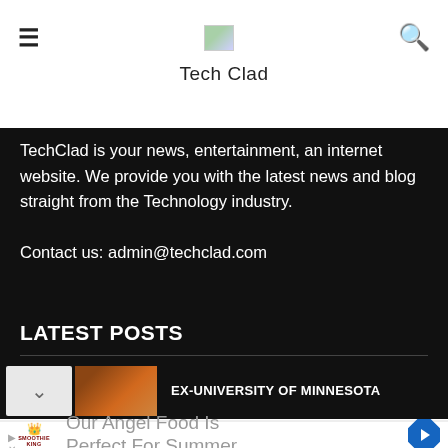Tech Clad
TechClad is your news, entertainment, an internet website. We provide you with the latest news and blog straight from the Technology industry.

Contact us: admin@techclad.com
LATEST POSTS
EX-UNIVERSITY OF MINNESOTA
[Figure (screenshot): Advertisement banner for Smoothie King: 'Our Angel Food Is Perfect For Summer']